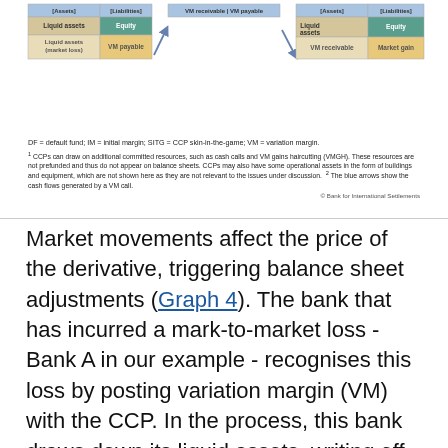[Figure (schematic): Diagram showing balance sheets of Bank A (left) and Bank B (right) with a CCP in the middle. Blue arrows show cash flows for a VM call. Bank A shows liquid assets (market loss) and VM payable. Bank B shows liquid assets, equity, VM receivable, and market gain.]
DF = default fund; IM = initial margin; SITG = CCP skin-in-the-game; VM = variation margin.
1 CCPs can draw on additional committed resources, such as cash calls and VM gains haircutting (VMGH). These resources are not prefunded and thus do not appear on balance sheets. CCPs may also have some operational assets in the form of buildings and equipment, which are not shown here as they are not relevant to the issues under discussion. 2 The blue arrows show the cash flows generated by a VM call.
© Bank for International Settlements
Market movements affect the price of the derivative, triggering balance sheet adjustments (Graph 4). The bank that has incurred a mark-to-market loss - Bank A in our example - recognises this loss by posting variation margin (VM) with the CCP. In the process, this bank draws down its liquid assets, writing off the same amount of capital on the liability side. In parallel, Bank B receives VM from the CCP and its balance sheet changes symmetrically to that of Bank A. The exchange of VM through the CCP typically takes